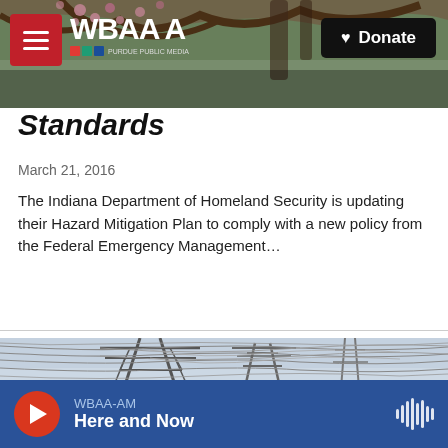[Figure (screenshot): WBAA NPR radio station website header with tree/flower background photo, red hamburger menu button, WBAA NPR logo, and black Donate button with heart icon]
Standards
March 21, 2016
The Indiana Department of Homeland Security is updating their Hazard Mitigation Plan to comply with a new policy from the Federal Emergency Management...
[Figure (photo): Electrical transmission towers with power lines against a grey sky]
WBAA-AM Here and Now